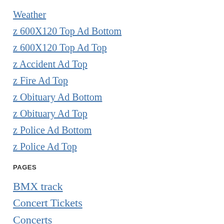Weather
z 600X120 Top Ad Bottom
z 600X120 Top Ad Top
z Accident Ad Top
z Fire Ad Top
z Obituary Ad Bottom
z Obituary Ad Top
z Police Ad Bottom
z Police Ad Top
PAGES
BMX track
Concert Tickets
Concerts
Contact Us